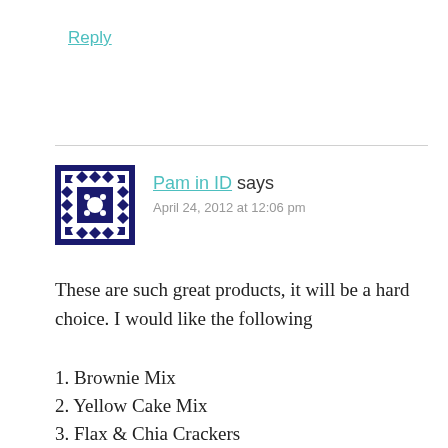Reply
[Figure (illustration): Blue and white geometric/quilt-pattern avatar icon, square shape]
Pam in ID says
April 24, 2012 at 12:06 pm
These are such great products, it will be a hard choice. I would like the following
1. Brownie Mix
2. Yellow Cake Mix
3. Flax & Chia Crackers
4. Pumpkin Bread Mix
Thanks for the opportunity to add to